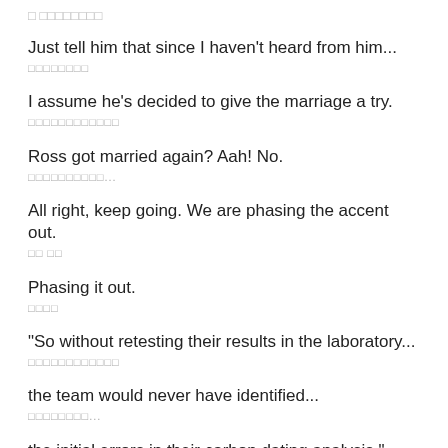□ □□□□□□□□
Just tell him that since I haven't heard from him...
□□□□□□□□
I assume he's decided to give the marriage a try.
□□□□□□□□□□□□
Ross got married again? Aah! No.
□□□□□□□□□□...
All right, keep going. We are phasing the accent out.
□□ □□
Phasing it out.
□□□□
"So without retesting their results in the laboratory...
□□□□□□□□□□□□
the team would never have identified...
□□□□□□□□...
the initial errors in their carbon dating analysis."
□□□□□□□□□□